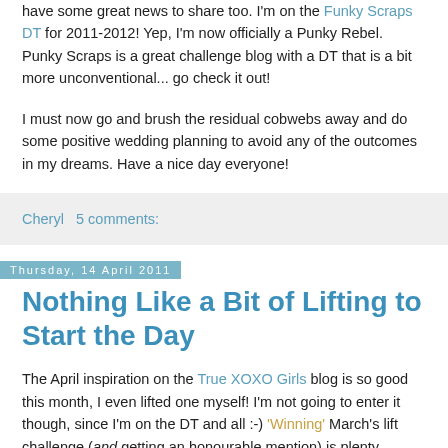have some great news to share too. I'm on the Funky Scraps DT for 2011-2012! Yep, I'm now officially a Punky Rebel. Punky Scraps is a great challenge blog with a DT that is a bit more unconventional... go check it out!
I must now go and brush the residual cobwebs away and do some positive wedding planning to avoid any of the outcomes in my dreams. Have a nice day everyone!
Cheryl   5 comments:
Thursday, 14 April 2011
Nothing Like a Bit of Lifting to Start the Day
The April inspiration on the True XOXO Girls blog is so good this month, I even lifted one myself! I'm not going to enter it though, since I'm on the DT and all :-) 'Winning' March's lift challenge (and getting an honourable mention) is plenty enough praise and flattery for me, so I'm going to toot